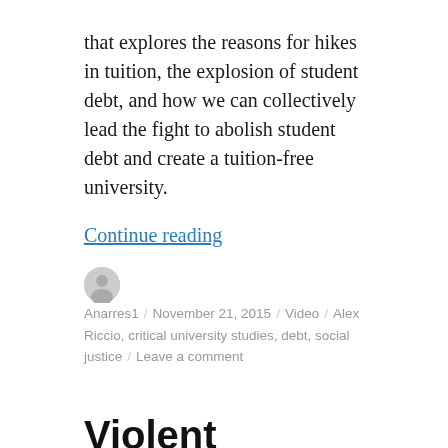that explores the reasons for hikes in tuition, the explosion of student debt, and how we can collectively lead the fight to abolish student debt and create a tuition-free university.
Continue reading
Anarres1 / November 21, 2015 / Video / Alex Riccio, critical university studies, debt, social justice / Leave a comment
Violent Religious Extremism Widespread
By Chris Lowe (November 18, 2015)
Continue reading